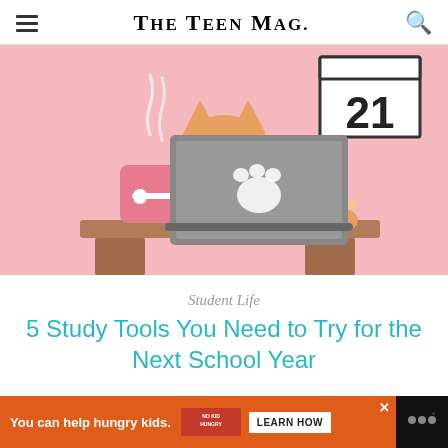THE TEEN MAG.
[Figure (illustration): Cartoon illustration of a Shiba Inu dog sitting behind a gray laptop with a paw print sticker, on a wooden desk. A pink mug with a bone graphic is on the left. A calendar showing '21' is in the upper right corner. Background is pink.]
Student Life
5 Study Tools You Need to Try for the Next School Year
[Figure (infographic): Orange advertisement bar: 'You can help hungry kids.' with No Kid Hungry logo and a 'LEARN HOW' button. Black close button (×) at top right.]